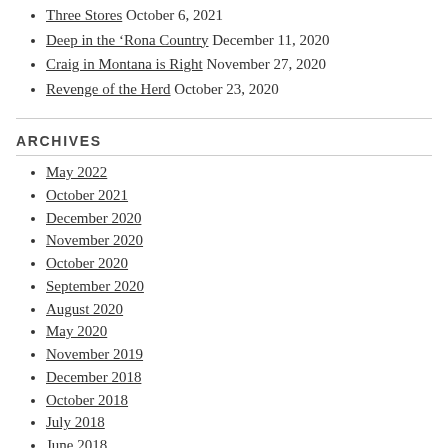Three Stores October 6, 2021
Deep in the ‘Rona Country December 11, 2020
Craig in Montana is Right November 27, 2020
Revenge of the Herd October 23, 2020
ARCHIVES
May 2022
October 2021
December 2020
November 2020
October 2020
September 2020
August 2020
May 2020
November 2019
December 2018
October 2018
July 2018
June 2018
May 2018